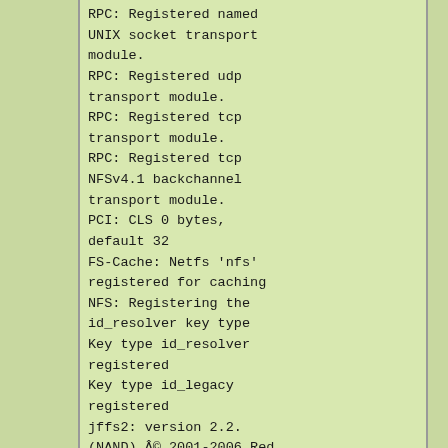RPC: Registered named UNIX socket transport module.
RPC: Registered udp transport module.
RPC: Registered tcp transport module.
RPC: Registered tcp NFSv4.1 backchannel transport module.
PCI: CLS 0 bytes, default 32
FS-Cache: Netfs 'nfs' registered for caching
NFS: Registering the id_resolver key type
Key type id_resolver registered
Key type id_legacy registered
jffs2: version 2.2. (NAND) © 2001-2006 Red Hat, Inc.
JFS: nTxBlock = 4009, nTxLock = 32077
msgmni has been set to 1002